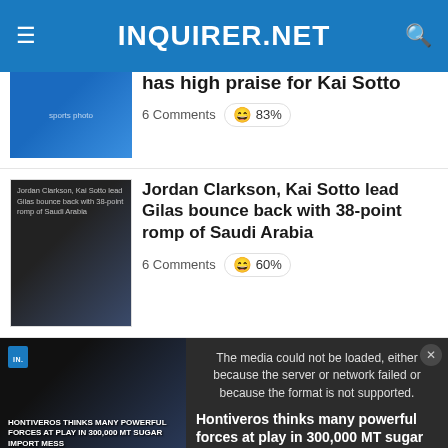INQUIRER.NET
has high praise for Kai Sotto
6 Comments  😄 83%
[Figure (photo): Sports photo thumbnail]
[Figure (photo): Jordan Clarkson, Kai Sotto lead Gilas bounce back with 38-point romp of Saudi Arabia thumbnail]
Jordan Clarkson, Kai Sotto lead Gilas bounce back with 38-point romp of Saudi Arabia
6 Comments  😄 60%
[Figure (screenshot): Video player showing Hontiveros story with error overlay]
The media could not be loaded, either because the server or network failed or because the format is not supported.
Hontiveros thinks many powerful forces at play in 300,000 MT sugar import...
HONTIVEROS THINKS MANY POWERFUL FORCES AT PLAY IN 300,000 MT SUGAR IMPORT MESS